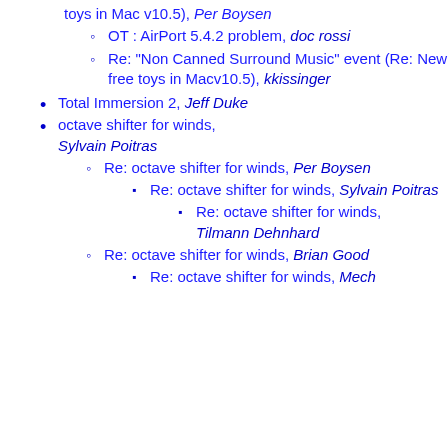toys in Mac v10.5), Per Boysen
OT : AirPort 5.4.2 problem, doc rossi
Re: "Non Canned Surround Music" event (Re: New free toys in Macv10.5), kkissinger
Total Immersion 2, Jeff Duke
octave shifter for winds, Sylvain Poitras
Re: octave shifter for winds, Per Boysen
Re: octave shifter for winds, Sylvain Poitras
Re: octave shifter for winds, Tilmann Dehnhard
Re: octave shifter for winds, Brian Good
Re: octave shifter for winds, Mech